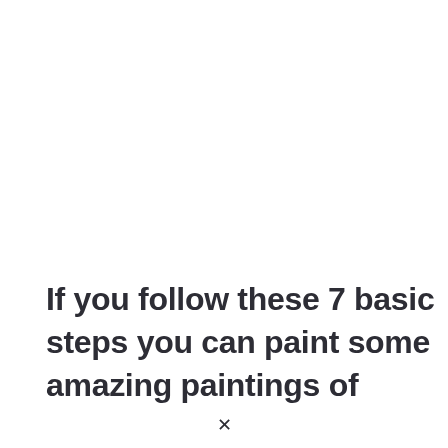If you follow these 7 basic steps you can paint some amazing paintings of